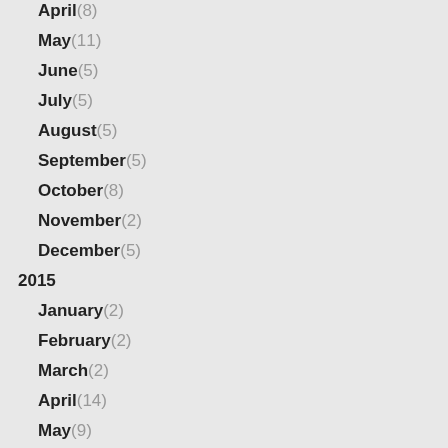April(8)
May(11)
June(5)
July(5)
August(5)
September(5)
October(8)
November(2)
December(5)
2015
January(2)
February(2)
March(2)
April(14)
May(9)